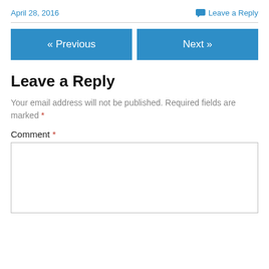April 28, 2016    Leave a Reply
« Previous    Next »
Leave a Reply
Your email address will not be published. Required fields are marked *
Comment *